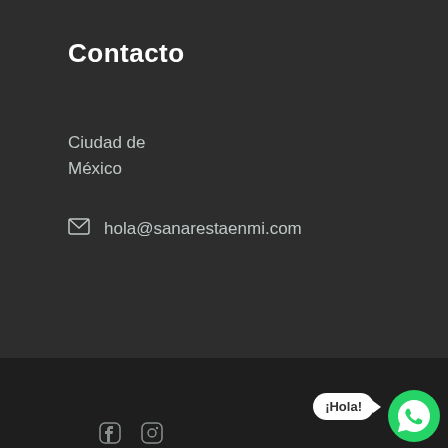Contacto
Ciudad de
México
hola@sanarestaenmi.com
Copyright ©2020 Todos los derechos reservados
Sanar está en mí
[Figure (other): WhatsApp chat button with 'Hola!' speech bubble and green WhatsApp icon]
[Figure (other): Facebook and Instagram social media icons in footer]